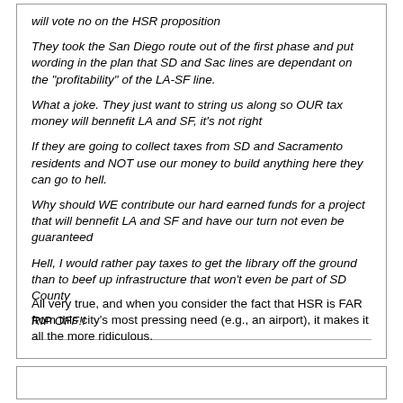will vote no on the HSR proposition

They took the San Diego route out of the first phase and put wording in the plan that SD and Sac lines are dependant on the "profitability" of the LA-SF line.

What a joke. They just want to string us along so OUR tax money will bennefit LA and SF, it's not right

If they are going to collect taxes from SD and Sacramento residents and NOT use our money to build anything here they can go to hell.

Why should WE contribute our hard earned funds for a project that will bennefit LA and SF and have our turn not even be guaranteed

Hell, I would rather pay taxes to get the library off the ground than to beef up infrastructure that won't even be part of SD County

RIP OFF!!
All very true, and when you consider the fact that HSR is FAR from this city's most pressing need (e.g., an airport), it makes it all the more ridiculous.